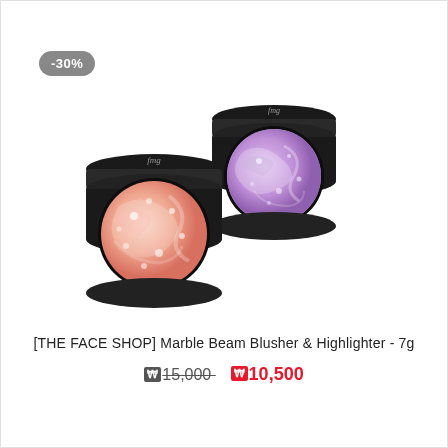-30%
[Figure (photo): Two round compact makeup products with black cases. The front compact shows a peach/coral shimmery blusher powder and the back compact shows a lavender/purple shimmery highlighter powder. Both are open showing the product inside.]
[THE FACE SHOP] Marble Beam Blusher & Highlighter - 7g
₩15,000  ₩10,500